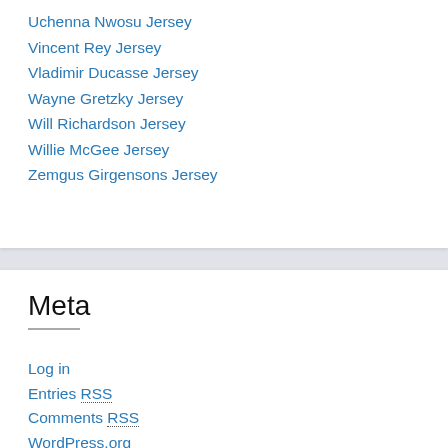Uchenna Nwosu Jersey
Vincent Rey Jersey
Vladimir Ducasse Jersey
Wayne Gretzky Jersey
Will Richardson Jersey
Willie McGee Jersey
Zemgus Girgensons Jersey
Meta
Log in
Entries RSS
Comments RSS
WordPress.org